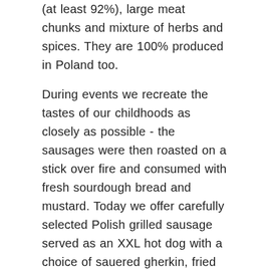(at least 92%), large meat chunks and mixture of herbs and spices. They are 100% produced in Poland too.
During events we recreate the tastes of our childhoods as closely as possible - the sausages were then roasted on a stick over fire and consumed with fresh sourdough bread and mustard. Today we offer carefully selected Polish grilled sausage served as an XXL hot dog with a choice of sauered gherkin, fried onions, ketchup and mustard.
3. "PLATZKI" POTATO PANCAKES
The "platzki" potato pancakes make a great vegetarian option for those who choose not to eat meat. They are made of shredded potatoes